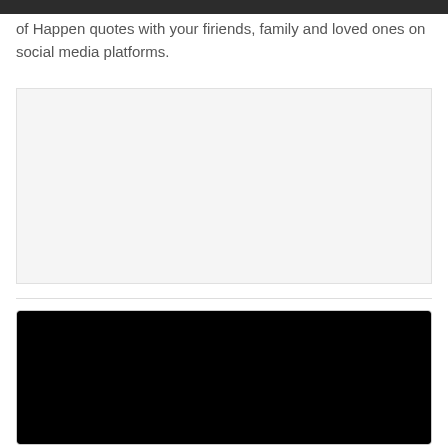of Happen quotes with your firiends, family and loved ones on social media platforms.
[Figure (other): Light gray advertisement placeholder box]
[Figure (other): Black video player embed box with rounded border]